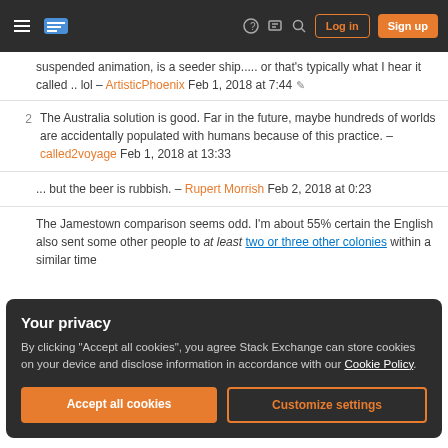Navigation bar with hamburger menu, logo, help, chat, search icons, Log in and Sign up buttons
suspended animation, is a seeder ship..... or that's typically what I hear it called .. lol – ArtisticPhoenix Feb 1, 2018 at 7:44
2 The Australia solution is good. Far in the future, maybe hundreds of worlds are accidentally populated with humans because of this practice. – called2voyage Feb 1, 2018 at 13:33
... but the beer is rubbish. – Rupert Morrish Feb 2, 2018 at 0:23
The Jamestown comparison seems odd. I'm about 55% certain the English also sent some other people to at least two or three other colonies within a similar time
Your privacy
By clicking "Accept all cookies", you agree Stack Exchange can store cookies on your device and disclose information in accordance with our Cookie Policy.
Accept all cookies  Customize settings